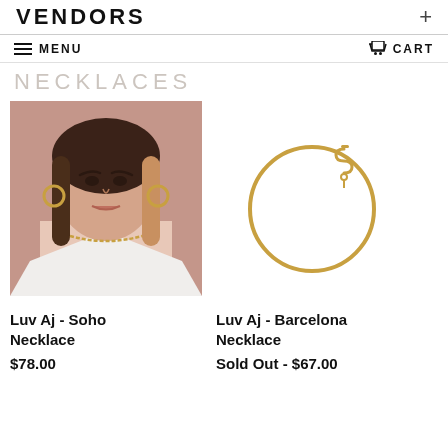VENDORS +
MENU   CART
NECKLACES
[Figure (photo): Woman wearing a gold chain necklace and gold hoop earrings, pink background, white top]
[Figure (photo): Gold circular bangle-style necklace with decorative clasp on white background]
Luv Aj - Soho Necklace
$78.00
Luv Aj - Barcelona Necklace
Sold Out - $67.00